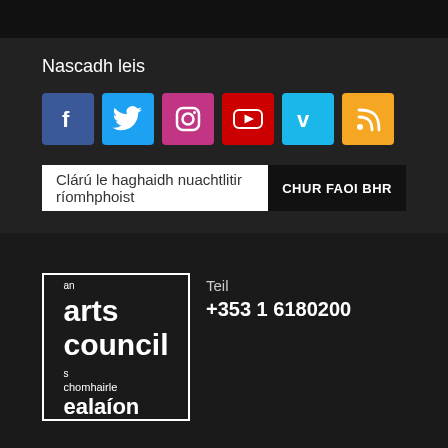Nascadh leis
[Figure (infographic): Social media icons: Facebook (blue), Twitter (cyan), Instagram (pink/magenta), YouTube (red), Vimeo (light blue), RSS (orange)]
Clárú le haghaidh nuachtlitir ríomhphoist   CHUR FAOI BHR
[Figure (logo): An Arts Council / An Chomhairle Ealaíon logo in white text on dark background with white border]
Teil
+353 1 6180200
An Chomhairle Ealaíon
70 Cearnóg Mhuirfean
Baile Átha Cliath 2
D02 NY52